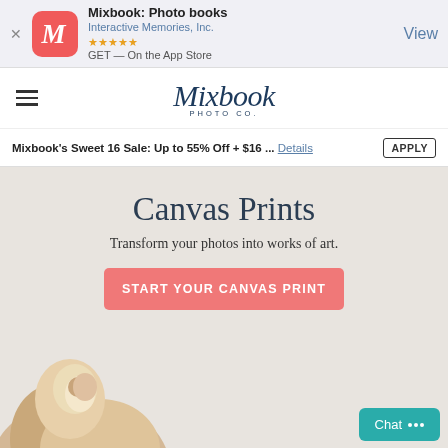[Figure (screenshot): App store banner for Mixbook: Photo books by Interactive Memories, Inc. with 5 stars rating and GET on the App Store CTA, with View button]
[Figure (logo): Mixbook Photo Co. logo in dark navy script font with PHOTO CO. subtitle]
Mixbook's Sweet 16 Sale: Up to 55% Off + $16 ... Details APPLY
Canvas Prints
Transform your photos into works of art.
START YOUR CANVAS PRINT
Chat